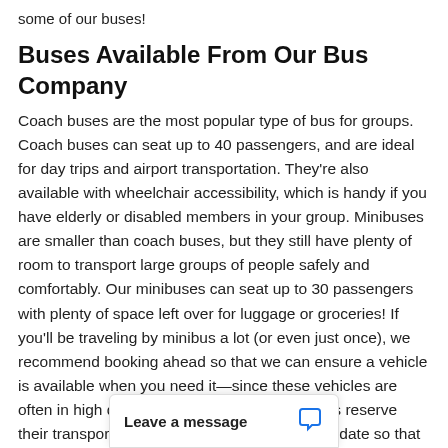some of our buses!
Buses Available From Our Bus Company
Coach buses are the most popular type of bus for groups. Coach buses can seat up to 40 passengers, and are ideal for day trips and airport transportation. They're also available with wheelchair accessibility, which is handy if you have elderly or disabled members in your group. Minibuses are smaller than coach buses, but they still have plenty of room to transport large groups of people safely and comfortably. Our minibuses can seat up to 30 passengers with plenty of space left over for luggage or groceries! If you'll be traveling by minibus a lot (or even just once), we recommend booking ahead so that we can ensure a vehicle is available when you need it—since these vehicles are often in high demand, we prefer that our clients reserve their transportation well in advance of their trip date so that everyth… problems.
Leave a message